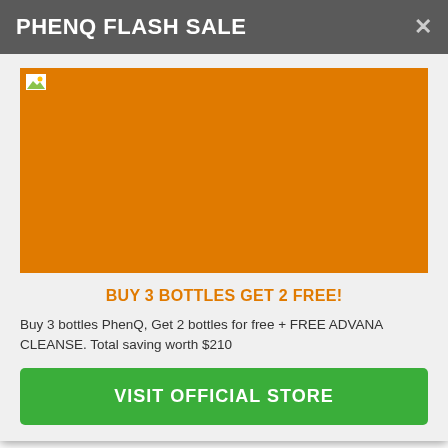PHENQ FLASH SALE
[Figure (photo): Orange product image placeholder for PhenQ supplement bottles]
BUY 3 BOTTLES GET 2 FREE!
Buy 3 bottles PhenQ, Get 2 bottles for free + FREE ADVANA CLEANSE. Total saving worth $210
VISIT OFFICIAL STORE
as well as cuts down the cost-free radicals in your body. Cysteine, on the other hand,